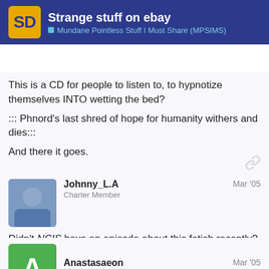Strange stuff on ebay — Mundane Pointless Stuff I Must Share (MPSIMS)
This is a CD for people to listen to, to hypnotize themselves INTO wetting the bed?

:::Phnord's last shred of hope for humanity withers and dies:::

And there it goes.
Johnny_L.A — Charter Member — Mar '05
Didn't NCIS have an episode about this fetish recently?
Anastasaeon — Guest — Mar '05